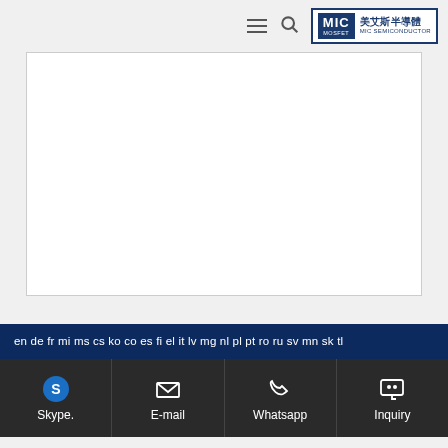MIC MOSFET MIC SEMICONDUCTOR 美艾斯半導體
[Figure (other): White content/image placeholder box with border]
en de fr mi ms cs ko co es fi el it lv mg nl pl pt ro ru sv mn sk tl
Skype. E-mail Whatsapp Inquiry